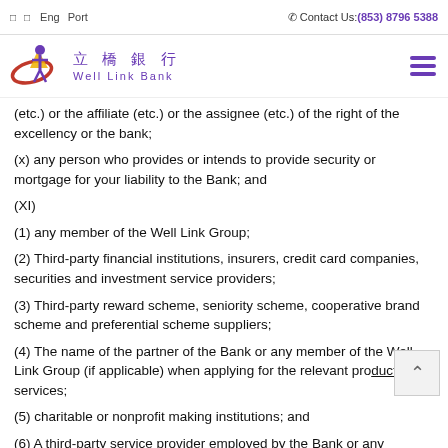□ □  Eng  Port    ✆ Contact Us: (853) 8796 5388
[Figure (logo): Well Link Bank logo with Chinese characters 立橋銀行 and English text Well Link Bank, purple and red/gold design]
(etc.) or the affiliate (etc.) or the assignee (etc.) of the right of the excellency or the bank;
(x) any person who provides or intends to provide security or mortgage for your liability to the Bank; and
(XI)
(1) any member of the Well Link Group;
(2) Third-party financial institutions, insurers, credit card companies, securities and investment service providers;
(3) Third-party reward scheme, seniority scheme, cooperative brand scheme and preferential scheme suppliers;
(4) The name of the partner of the Bank or any member of the Well Link Group (if applicable) when applying for the relevant products and services;
(5) charitable or nonprofit making institutions; and
(6) A third-party service provider employed by the Bank or any